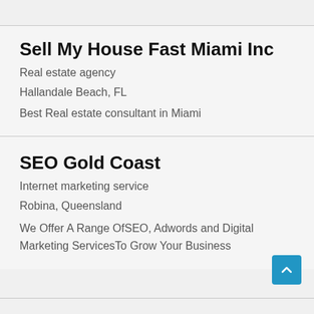Sell My House Fast Miami Inc
Real estate agency
Hallandale Beach, FL
Best Real estate consultant in Miami
SEO Gold Coast
Internet marketing service
Robina, Queensland
We Offer A Range OfSEO, Adwords and Digital Marketing ServicesTo Grow Your Business